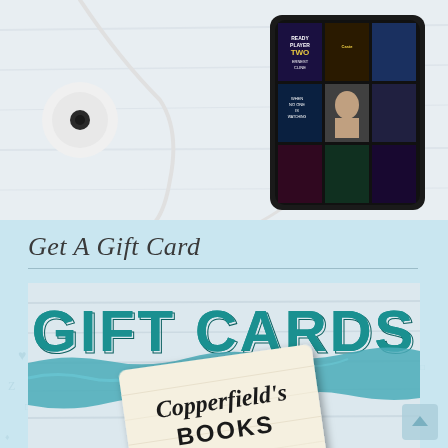[Figure (photo): White earbuds/headphones and a smartphone showing a grid of audiobook covers on a light wood background]
Get A Gift Card
[Figure (illustration): Gift card promotional banner with GIFT CARDS text in large teal letters, a teal watercolor stripe, and a Copperfield's Books gift card tilted at an angle on a light blue background]